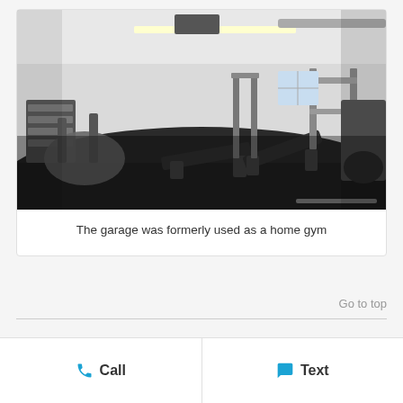[Figure (photo): Interior photo of a garage converted into a home gym with various exercise equipment including weight benches, dumbbells, cable machines, and cardio equipment on a dark rubber floor with white walls and fluorescent lighting.]
The garage was formerly used as a home gym
Go to top
Call
Text